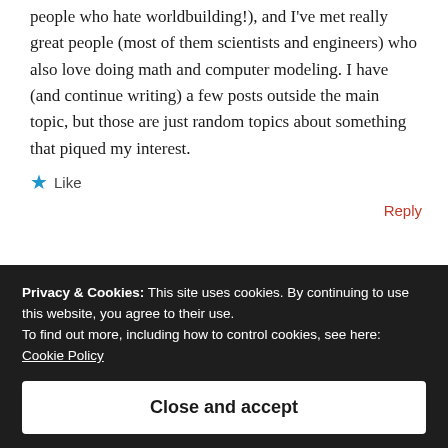people who hate worldbuilding!), and I've met really great people (most of them scientists and engineers) who also love doing math and computer modeling. I have (and continue writing) a few posts outside the main topic, but those are just random topics about something that piqued my interest.
★ Like
Reply
Privacy & Cookies: This site uses cookies. By continuing to use this website, you agree to their use.
To find out more, including how to control cookies, see here:
Cookie Policy
Close and accept